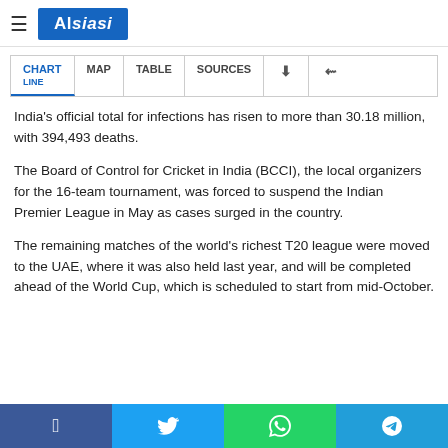Alsiasi
CHART LINE | MAP | TABLE | SOURCES | download | share
India's official total for infections has risen to more than 30.18 million, with 394,493 deaths.
The Board of Control for Cricket in India (BCCI), the local organizers for the 16-team tournament, was forced to suspend the Indian Premier League in May as cases surged in the country.
The remaining matches of the world's richest T20 league were moved to the UAE, where it was also held last year, and will be completed ahead of the World Cup, which is scheduled to start from mid-October.
Facebook | Twitter | WhatsApp | Telegram